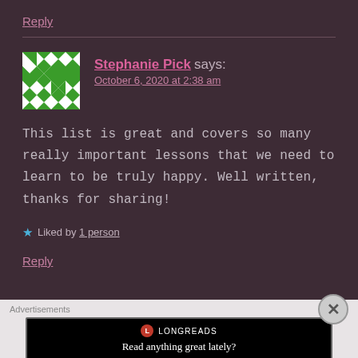Reply
[Figure (illustration): Green quilt-pattern avatar for Stephanie Pick]
Stephanie Pick says:
October 6, 2020 at 2:38 am
This list is great and covers so many really important lessons that we need to learn to be truly happy. Well written, thanks for sharing!
Liked by 1 person
Reply
Advertisements
[Figure (logo): Longreads ad banner: red circle L logo, LONGREADS brand name, tagline 'Read anything great lately?']